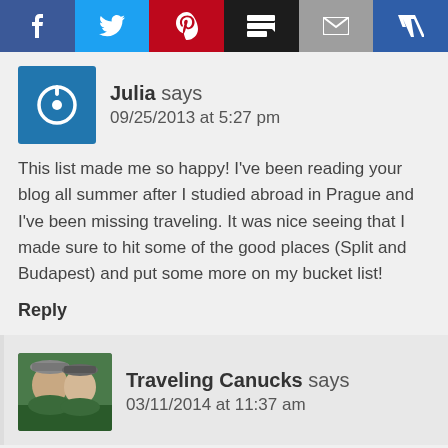[Figure (other): Social share bar with Facebook, Twitter, Pinterest, Buffer, Email, and Crown/Bloglovin icons]
Julia says
09/25/2013 at 5:27 pm
This list made me so happy! I've been reading your blog all summer after I studied abroad in Prague and I've been missing traveling. It was nice seeing that I made sure to hit some of the good places (Split and Budapest) and put some more on my bucket list!
Reply
Traveling Canucks says
03/11/2014 at 11:37 am